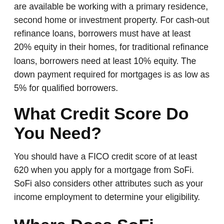are available be working with a primary residence, second home or investment property. For cash-out refinance loans, borrowers must have at least 20% equity in their homes, for traditional refinance loans, borrowers need at least 10% equity. The down payment required for mortgages is as low as 5% for qualified borrowers.
What Credit Score Do You Need?
You should have a FICO credit score of at least 620 when you apply for a mortgage from SoFi. SoFi also considers other attributes such as your income employment to determine your eligibility.
Where Does SoFi Operate?